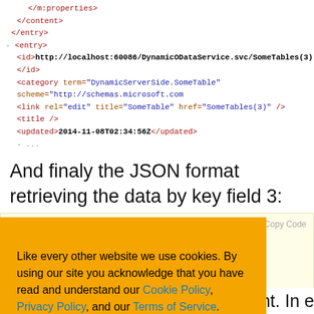[Figure (screenshot): XML code snippet showing entry elements with id, category, link, title, updated tags in colored syntax highlighting]
And finaly the JSON format retrieving the data by key field 3:
[Figure (screenshot): JSON code block with Copy Code button showing partial JSON response with Id: 3, Gender fields]
[Figure (infographic): Cookie consent overlay with orange background. Text: Like every other website we use cookies. By using our site you acknowledge that you have read and understand our Cookie Policy, Privacy Policy, and our Terms of Service. Learn more. Buttons: Ask me later, Decline, Allow cookies]
How do we consume it via a client.  In essence you